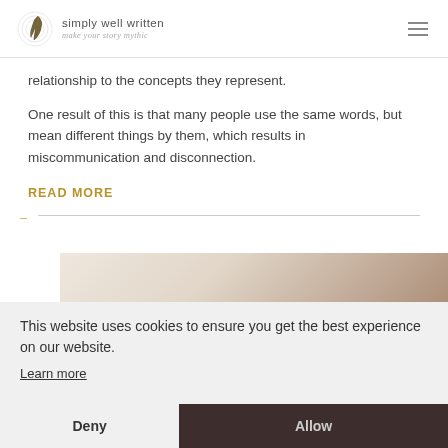simply well written — make your story mythic
relationship to the concepts they represent.
One result of this is that many people use the same words, but mean different things by them, which results in miscommunication and disconnection.
READ MORE
This website uses cookies to ensure you get the best experience on our website. Learn more
Deny
Allow